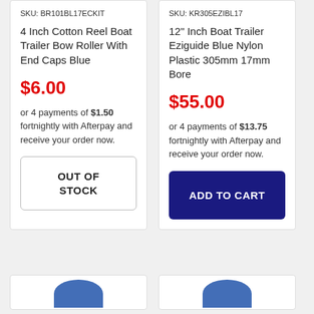SKU: BR101BL17ECKIT
4 Inch Cotton Reel Boat Trailer Bow Roller With End Caps Blue
$6.00
or 4 payments of $1.50 fortnightly with Afterpay and receive your order now.
OUT OF STOCK
SKU: KR305EZIBL17
12" Inch Boat Trailer Eziguide Blue Nylon Plastic 305mm 17mm Bore
$55.00
or 4 payments of $13.75 fortnightly with Afterpay and receive your order now.
ADD TO CART
[Figure (other): Partial product images visible at bottom of page]
[Figure (other): Partial product image visible at bottom right of page]